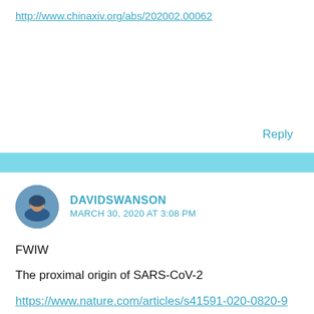http://www.chinaxiv.org/abs/202002.00062
Reply
DAVIDSWANSON
MARCH 30, 2020 AT 3:08 PM
FWIW
The proximal origin of SARS-CoV-2
https://www.nature.com/articles/s41591-020-0820-9
Genomic Study Points to Natural Origin of